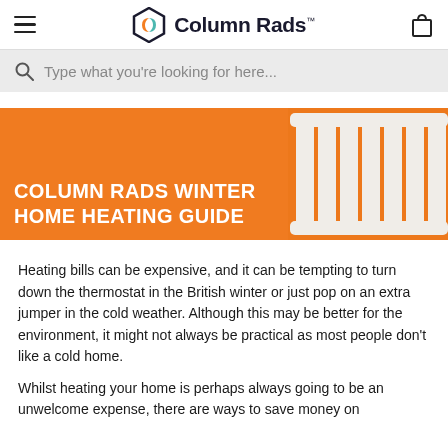Column Rads
[Figure (screenshot): Search bar with placeholder text: Type what you're looking for here...]
[Figure (photo): Orange banner image showing white column radiators on the right and bold white text reading COLUMN RADS WINTER HOME HEATING GUIDE on the left]
Heating bills can be expensive, and it can be tempting to turn down the thermostat in the British winter or just pop on an extra jumper in the cold weather. Although this may be better for the environment, it might not always be practical as most people don't like a cold home.
Whilst heating your home is perhaps always going to be an unwelcome expense, there are ways to save money on your bills. This guide will walk you through some of the